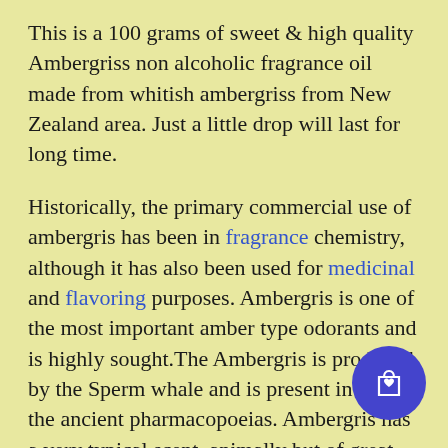This is a 100 grams of sweet & high quality Ambergriss non alcoholic fragrance oil made from whitish ambergriss from New Zealand area. Just a little drop will last for long time.
Historically, the primary commercial use of ambergris has been in fragrance chemistry, although it has also been used for medicinal and flavoring purposes. Ambergris is one of the most important amber type odorants and is highly sought.The Ambergris is produced by the Sperm whale and is present in of all the ancient pharmacopoeias. Ambergris has a very typical scent, animally but of great sweetness that seduces particularly feminine noses, who instinctively recognize the odour that will attract males. In fact, Ambergris, like all aromatic substances of animal origin, is a pheromone and acts directly on the hormonal system through the